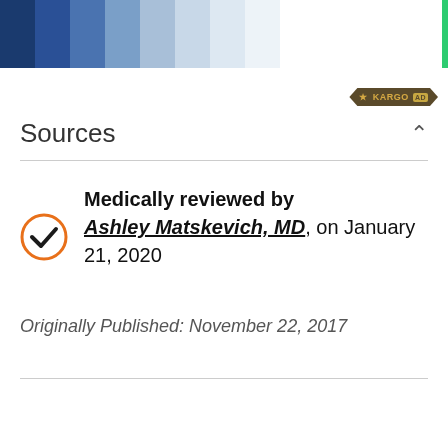[Figure (other): Color gradient bar showing shades of blue from dark navy to very light blue/white]
[Figure (other): Kargo AD badge/logo in dark brown with gold text]
Sources
Medically reviewed by Ashley Matskevich, MD, on January 21, 2020
Originally Published: November 22, 2017